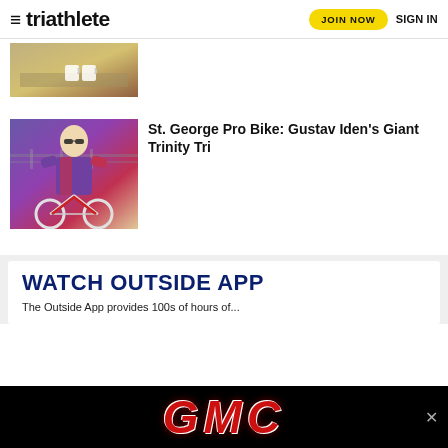triathlete | JOIN NOW | SIGN IN
[Figure (photo): Partially visible thumbnail image of people at a table with mugs]
[Figure (photo): Photo of Gustav Iden wearing sunglasses and purple/red cycling kit, posing with a triathlon bike outdoors]
St. George Pro Bike: Gustav Iden's Giant Trinity Tri
WATCH OUTSIDE APP
The Outside App provides 100s of hours of...
[Figure (logo): GMC advertisement banner with red GMC logo on black background]